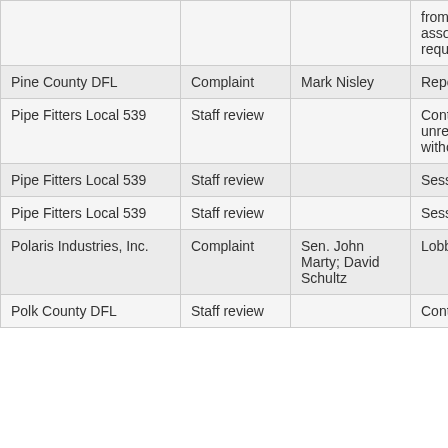| Entity | Type | Complainant | Issue |
| --- | --- | --- | --- |
|  |  |  | from unregistered association without required disclosure |
| Pine County DFL | Complaint | Mark Nisley | Reporting |
| Pipe Fitters Local 539 | Staff review |  | Contributions from unregistered association without required disclosure |
| Pipe Fitters Local 539 | Staff review |  | Sessional contributions |
| Pipe Fitters Local 539 | Staff review |  | Sessional contributions |
| Polaris Industries, Inc. | Complaint | Sen. John Marty; David Schultz | Lobbyist gift ban |
| Polk County DFL | Staff review |  | Contributions |